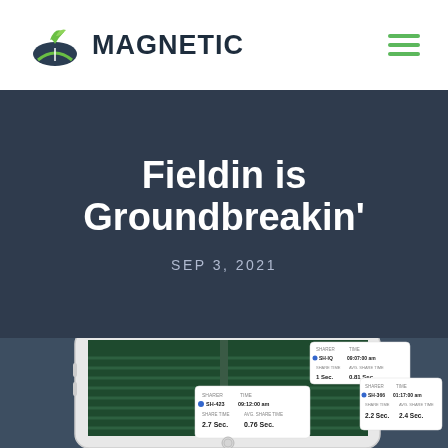[Figure (logo): Magnetic logo with green leaf/road icon and dark bold text MAG in dark navy and NETIC in dark navy]
Fieldin is Groundbreakin'
SEP 3, 2021
[Figure (screenshot): Smartphone showing the Fieldin app with aerial field view and data popup cards showing SHARER SH-423, TIME 09:12:00 am, SHARE TIME 2.7 Sec., AVG. SHARE TIME 0.76 Sec. and other data cards]